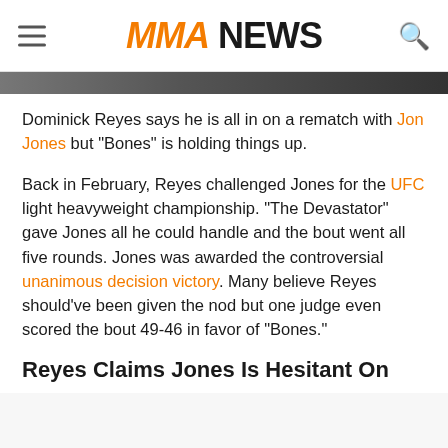MMA NEWS
[Figure (photo): Partial photo strip showing fighters, cropped at top of content area]
Dominick Reyes says he is all in on a rematch with Jon Jones but "Bones" is holding things up.
Back in February, Reyes challenged Jones for the UFC light heavyweight championship. "The Devastator" gave Jones all he could handle and the bout went all five rounds. Jones was awarded the controversial unanimous decision victory. Many believe Reyes should've been given the nod but one judge even scored the bout 49-46 in favor of "Bones."
Reyes Claims Jones Is Hesitant On